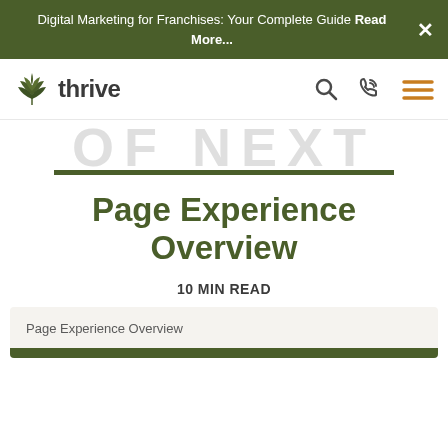Digital Marketing for Franchises: Your Complete Guide Read More...
[Figure (logo): Thrive Internet Marketing Agency logo with green leaf icon]
OF NEXT
Page Experience Overview
10 MIN READ
Page Experience Overview